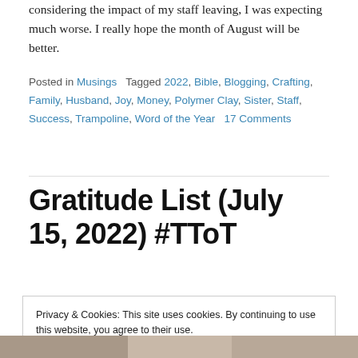considering the impact of my staff leaving, I was expecting much worse. I really hope the month of August will be better.
Posted in Musings   Tagged 2022, Bible, Blogging, Crafting, Family, Husband, Joy, Money, Polymer Clay, Sister, Staff, Success, Trampoline, Word of the Year   17 Comments
Gratitude List (July 15, 2022) #TToT
Privacy & Cookies: This site uses cookies. By continuing to use this website, you agree to their use.
To find out more, including how to control cookies, see here: Cookie Policy
Close and accept
[Figure (photo): Partial image of a person, cropped at bottom of page]